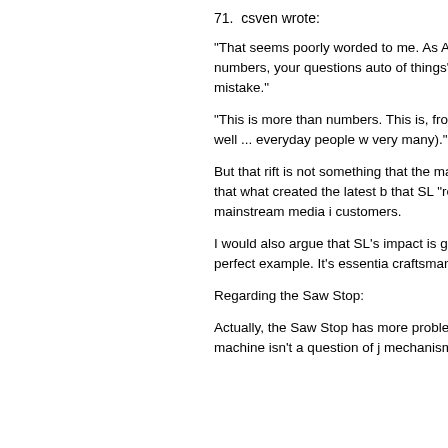71.  csven wrote:
"That seems poorly worded to me. As And on other things besides the numbers. And accuracy of numbers, your questions auto of things" to them. The same is true in reg numbers. I consider that a mistake."
"This is more than numbers. This is, from users (hardcore gamer-types vs everyday the rules vs .... well ... everyday people w very many)."
But that rift is not something that the main batch of media stories about SL harp on t would argue that what created the latest b that SL "reached" the 2,000,000 number. only metric which the mainstream media i customers.
I would also argue that SL's impact is goin doesn't at heart offer anything new that ha WoW is the perfect example. It's essentia craftsmanship it's not really remarkable. W
Regarding the Saw Stop:
Actually, the Saw Stop has more problem and some other materials can cause the s restarting the machine isn't a question of j mechanism, including the saw blade, mus